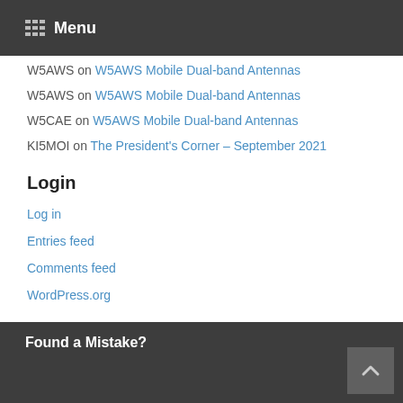Menu
W5AWS on W5AWS Mobile Dual-band Antennas
W5AWS on W5AWS Mobile Dual-band Antennas
W5CAE on W5AWS Mobile Dual-band Antennas
KI5MOI on The President's Corner – September 2021
Login
Log in
Entries feed
Comments feed
WordPress.org
Found a Mistake?